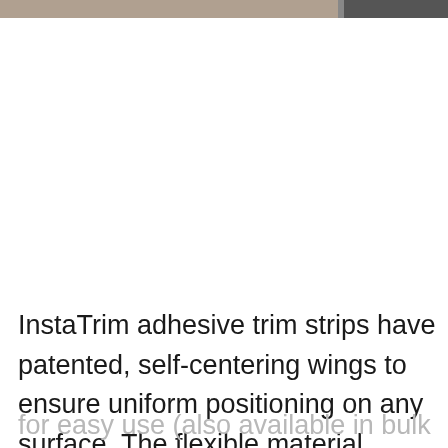[Figure (photo): Partial view of product images at the top of the page, showing a dark background strip with lighter segments.]
InstaTrim adhesive trim strips have patented, self-centering wings to ensure uniform positioning on any surface. The flexible material comes on a roll for easy use (also available in bulk rolls), and no